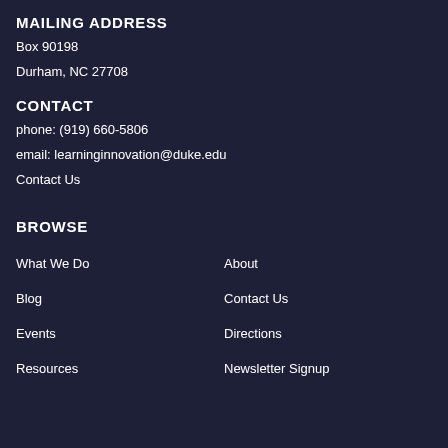MAILING ADDRESS
Box 90198
Durham, NC 27708
CONTACT
phone: (919) 660-5806
email: learninginnovation@duke.edu
Contact Us
BROWSE
What We Do
About
Blog
Contact Us
Events
Directions
Resources
Newsletter Signup